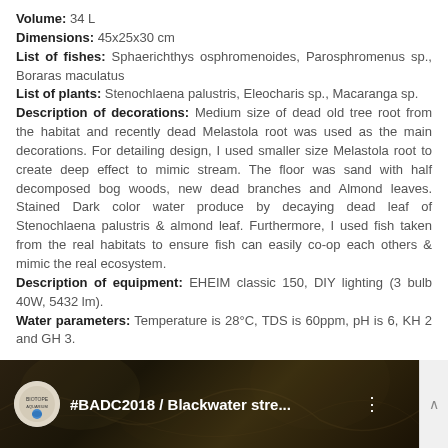Volume: 34 L
Dimensions: 45x25x30 cm
List of fishes: Sphaerichthys osphromenoides, Parosphromenus sp., Boraras maculatus
List of plants: Stenochlaena palustris, Eleocharis sp., Macaranga sp.
Description of decorations: Medium size of dead old tree root from the habitat and recently dead Melastola root was used as the main decorations. For detailing design, I used smaller size Melastola root to create deep effect to mimic stream. The floor was sand with half decomposed bog woods, new dead branches and Almond leaves. Stained Dark color water produce by decaying dead leaf of Stenochlaena palustris & almond leaf. Furthermore, I used fish taken from the real habitats to ensure fish can easily co-op each others & mimic the real ecosystem.
Description of equipment: EHEIM classic 150, DIY lighting (3 bulb 40W, 5432 lm).
Water parameters: Temperature is 28°C, TDS is 60ppm, pH is 6, KH 2 and GH 3.
[Figure (screenshot): Video thumbnail showing '#BADC2018 / Blackwater stre...' with a circular logo on the left and dark aquarium background]